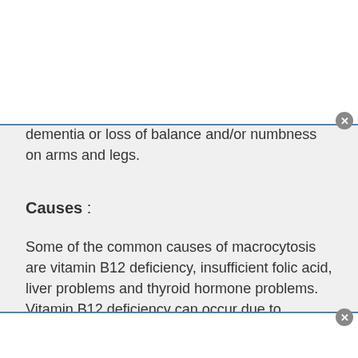dementia or loss of balance and/or numbness on arms and legs.
Causes :
Some of the common causes of macrocytosis are vitamin B12 deficiency, insufficient folic acid, liver problems and thyroid hormone problems. Vitamin B12 deficiency can occur due to bacterial infection, after gastrectomy surgery, HIV infection, mal-